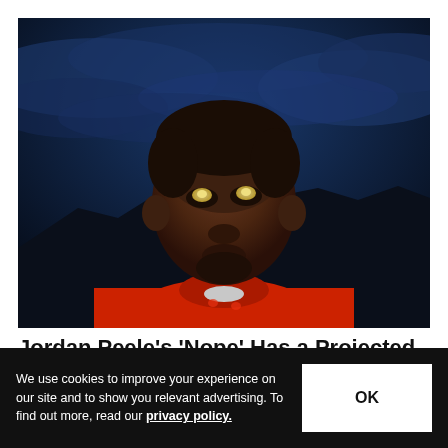[Figure (photo): A man wearing a red hoodie looking upward against a dramatic dark blue cloudy sky background, with dark hills or mountains in the lower background.]
Jordan Peele's 'Nope' Has a Projected Earning of $44.5 Million USD for Opening Weekend
We use cookies to improve your experience on our site and to show you relevant advertising. To find out more, read our privacy policy.